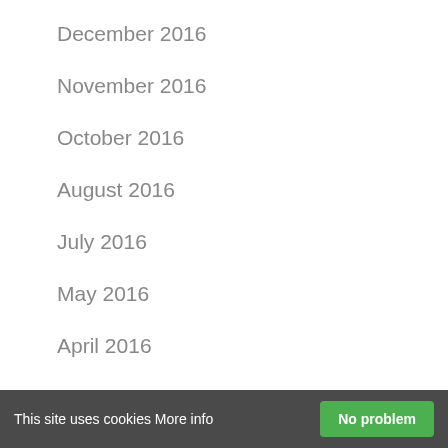December 2016
November 2016
October 2016
August 2016
July 2016
May 2016
April 2016
March 2016
January 2016
This site uses cookies More info  No problem